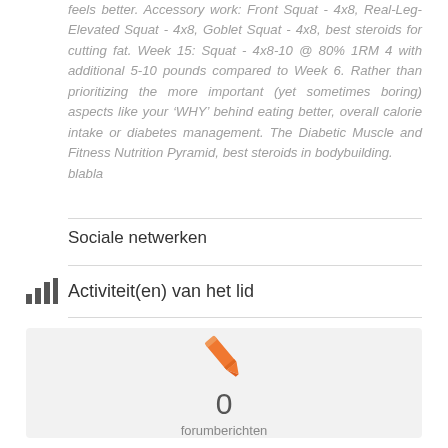feels better. Accessory work: Front Squat - 4x8, Real-Leg-Elevated Squat - 4x8, Goblet Squat - 4x8, best steroids for cutting fat. Week 15: Squat - 4x8-10 @ 80% 1RM 4 with additional 5-10 pounds compared to Week 6. Rather than prioritizing the more important (yet sometimes boring) aspects like your ‘WHY’ behind eating better, overall calorie intake or diabetes management. The Diabetic Muscle and Fitness Nutrition Pyramid, best steroids in bodybuilding. blabla
Sociale netwerken
Activiteit(en) van het lid
[Figure (infographic): Orange pencil icon above the number 0 and text 'forumberichten' on a light grey background]